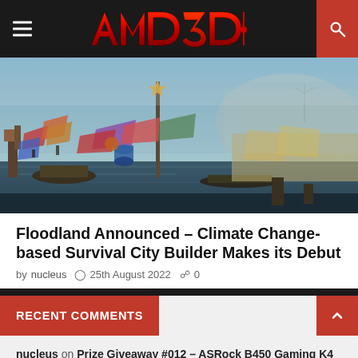AMD3D
[Figure (screenshot): Screenshot of Floodland game — a post-apocalyptic flooded city with makeshift settlements, colorful tattered flags/tarps, industrial structures, and misty cliffs in background]
Floodland Announced – Climate Change-based Survival City Builder Makes its Debut
by nucleus  25th August 2022  0
RECENT COMMENTS
nucleus on Prize Giveaway #012 – ASRock B450 Gaming K4